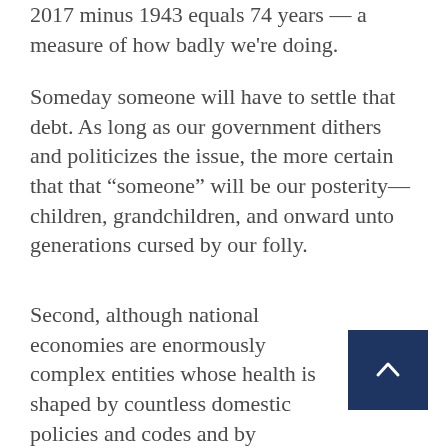2017 minus 1943 equals 74 years — a measure of how badly we're doing.
Someday someone will have to settle that debt. As long as our government dithers and politicizes the issue, the more certain that that “someone” will be our posterity—children, grandchildren, and onward unto generations cursed by our folly.
Second, although national economies are enormously complex entities whose health is shaped by countless domestic policies and codes and by international financial conditions either competing against or collaborating with ourself